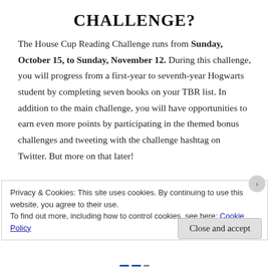CHALLENGE?
The House Cup Reading Challenge runs from Sunday, October 15, to Sunday, November 12. During this challenge, you will progress from a first-year to seventh-year Hogwarts student by completing seven books on your TBR list. In addition to the main challenge, you will have opportunities to earn even more points by participating in the themed bonus challenges and tweeting with the challenge hashtag on Twitter. But more on that later!
Privacy & Cookies: This site uses cookies. By continuing to use this website, you agree to their use.
To find out more, including how to control cookies, see here: Cookie Policy